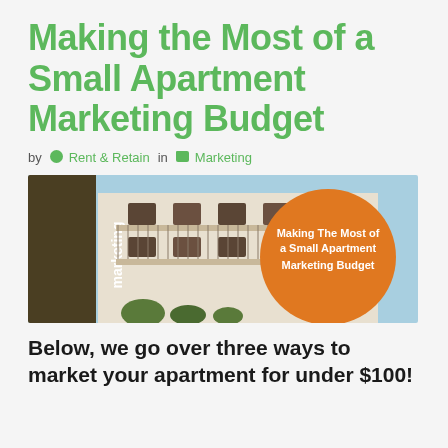Making the Most of a Small Apartment Marketing Budget
by Rent & Retain in Marketing
[Figure (photo): Banner image of apartment building exterior with an orange circle overlay containing text 'Making The Most of a Small Apartment Marketing Budget'. Dark olive sidebar on the left reads 'marketing' vertically.]
Below, we go over three ways to market your apartment for under $100!